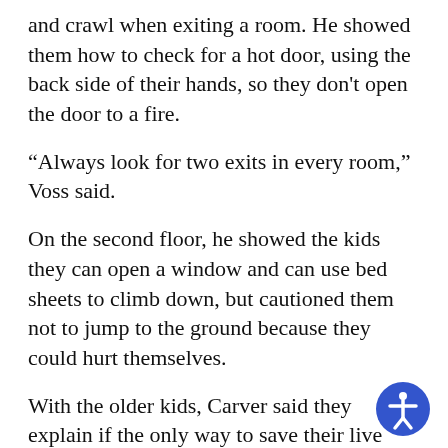and crawl when exiting a room. He showed them how to check for a hot door, using the back side of their hands, so they don't open the door to a fire.
“Always look for two exits in every room,” Voss said.
On the second floor, he showed the kids they can open a window and can use bed sheets to climb down, but cautioned them not to jump to the ground because they could hurt themselves.
With the older kids, Carver said they explain if the only way to save their live would be to drop out of a second story window, they describe the safest way to do so. Firefighters also shared the safest way to break a window to escape a fire.
Voss then showed the class to crawl down the stairs